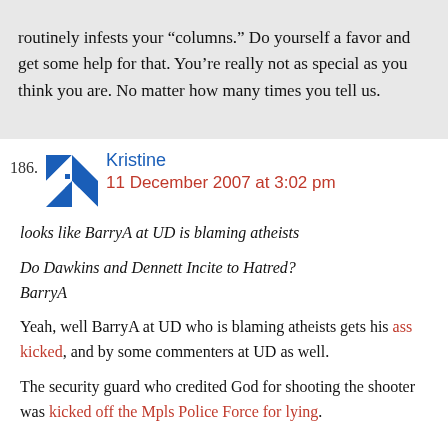routinely infests your “columns.” Do yourself a favor and get some help for that. You’re really not as special as you think you are. No matter how many times you tell us.
186. Kristine
11 December 2007 at 3:02 pm
looks like BarryA at UD is blaming atheists
Do Dawkins and Dennett Incite to Hatred?
BarryA
Yeah, well BarryA at UD who is blaming atheists gets his ass kicked, and by some commenters at UD as well.
The security guard who credited God for shooting the shooter was kicked off the Mpls Police Force for lying.